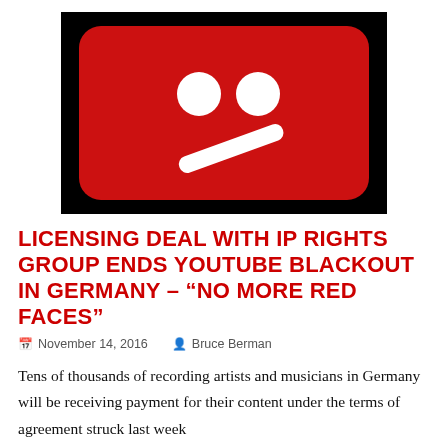[Figure (illustration): YouTube error icon on black background — red rounded rectangle with two white circles (eyes) and a white diagonal bar (sad/confused mouth), resembling a sad face emoji in the style of YouTube's blocked video icon.]
LICENSING DEAL WITH IP RIGHTS GROUP ENDS YOUTUBE BLACKOUT IN GERMANY – "NO MORE RED FACES"
November 14, 2016   Bruce Berman
Tens of thousands of recording artists and musicians in Germany will be receiving payment for their content under the terms of agreement struck last week